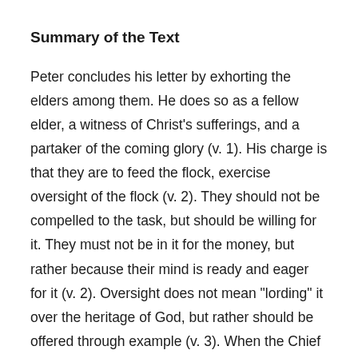Summary of the Text
Peter concludes his letter by exhorting the elders among them. He does so as a fellow elder, a witness of Christ’s sufferings, and a partaker of the coming glory (v. 1). His charge is that they are to feed the flock, exercise oversight of the flock (v. 2). They should not be compelled to the task, but should be willing for it. They must not be in it for the money, but rather because their mind is ready and eager for it (v. 2). Oversight does not mean “lording” it over the heritage of God, but rather should be offered through example (v. 3). When the Chief Pastor appears, such elders will receive a